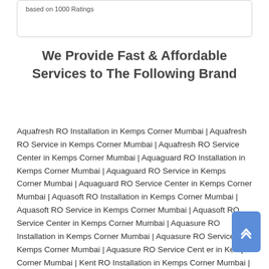based on 1000 Ratings
We Provide Fast & Affordable Services to The Following Brand
Aquafresh RO Installation in Kemps Corner Mumbai | Aquafresh RO Service in Kemps Corner Mumbai | Aquafresh RO Service Center in Kemps Corner Mumbai | Aquaguard RO Installation in Kemps Corner Mumbai | Aquaguard RO Service in Kemps Corner Mumbai | Aquaguard RO Service Center in Kemps Corner Mumbai | Aquasoft RO Installation in Kemps Corner Mumbai | Aquasoft RO Service in Kemps Corner Mumbai | Aquasoft RO Service Center in Kemps Corner Mumbai | Aquasure RO Installation in Kemps Corner Mumbai | Aquasure RO Service in Kemps Corner Mumbai | Aquasure RO Service Center in Kemps Corner Mumbai | Kent RO Installation in Kemps Corner Mumbai | Kent RO Service in Kemps Corner Mumbai | Kent RO Service Center in Kemps Corner Mumbai | Livpure RO Installation in Kemps Corner Mumbai |